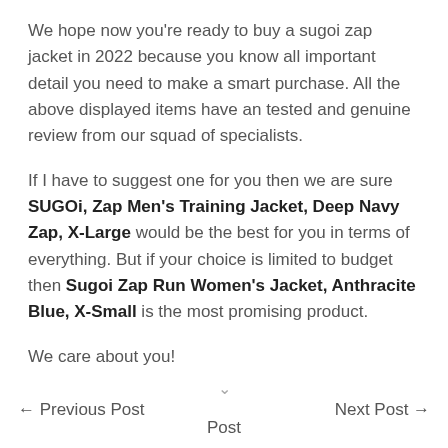We hope now you're ready to buy a sugoi zap jacket in 2022 because you know all important detail you need to make a smart purchase. All the above displayed items have an tested and genuine review from our squad of specialists.
If I have to suggest one for you then we are sure SUGOi, Zap Men's Training Jacket, Deep Navy Zap, X-Large would be the best for you in terms of everything. But if your choice is limited to budget then Sugoi Zap Run Women's Jacket, Anthracite Blue, X-Small is the most promising product.
We care about you!
← Previous Post    Next Post →